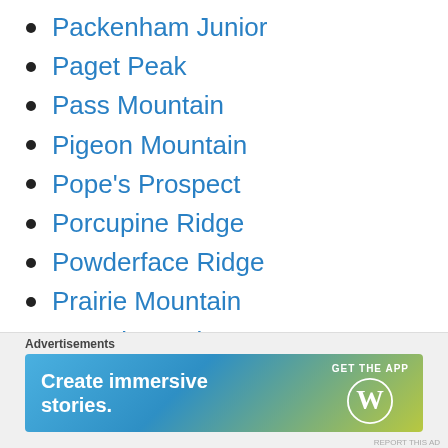Packenham Junior
Paget Peak
Pass Mountain
Pigeon Mountain
Pope's Prospect
Porcupine Ridge
Powderface Ridge
Prairie Mountain
Ptarmigan Cirque
Purple Peak
Raspberry Ridge
Read's Tower
Richardson (Mount)
[Figure (other): WordPress advertisement banner: 'Create immersive stories. GET THE APP' with WordPress logo]